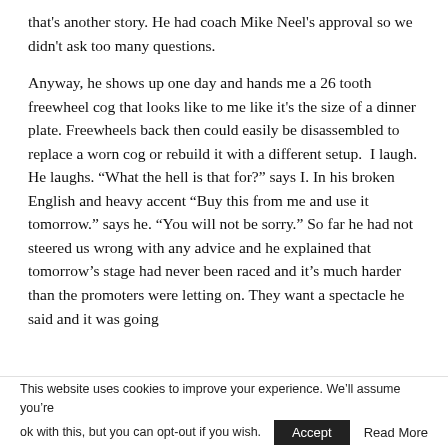that's another story. He had coach Mike Neel's approval so we didn't ask too many questions.
Anyway, he shows up one day and hands me a 26 tooth freewheel cog that looks like to me like it's the size of a dinner plate. Freewheels back then could easily be disassembled to replace a worn cog or rebuild it with a different setup.  I laugh. He laughs. "What the hell is that for?" says I. In his broken English and heavy accent "Buy this from me and use it tomorrow." says he. "You will not be sorry." So far he had not steered us wrong with any advice and he explained that tomorrow's stage had never been raced and it's much harder than the promoters were letting on. They want a spectacle he said and it was going
This website uses cookies to improve your experience. We'll assume you're ok with this, but you can opt-out if you wish.